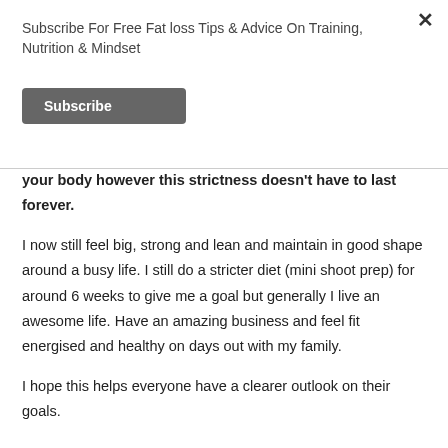Subscribe For Free Fat loss Tips & Advice On Training, Nutrition & Mindset
Subscribe
your body however this strictness doesn't have to last forever.
I now still feel big, strong and lean and maintain in good shape around a busy life. I still do a stricter diet (mini shoot prep) for around 6 weeks to give me a goal but generally I live an awesome life. Have an amazing business and feel fit energised and healthy on days out with my family.
I hope this helps everyone have a clearer outlook on their goals.